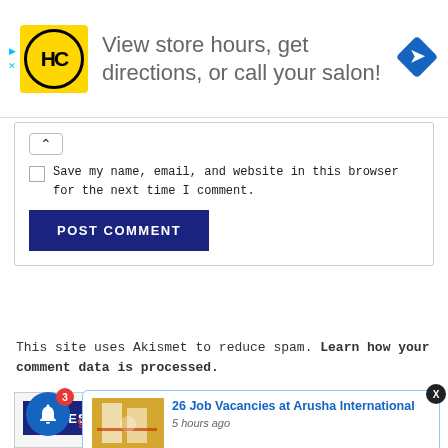[Figure (screenshot): Advertisement banner for a hair salon: yellow HC logo on left, text 'View store hours, get directions, or call your salon!' in grey, blue diamond arrow icon on right. Ad controls (play/close) on far left.]
Save my name, email, and website in this browser for the next time I comment.
POST COMMENT
This site uses Akismet to reduce spam. Learn how your comment data is processed.
LATEST JOBS
[Figure (screenshot): Popup notification showing building photo with text '26 Job Vacancies at Arusha International' and '5 hours ago', with X close button. Also notification bell icon with badge showing 3, and gaonline.com watermark.]